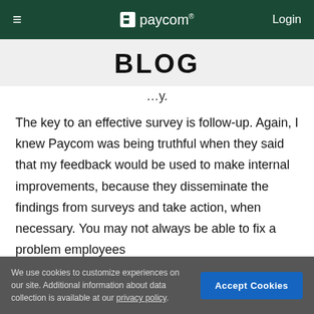≡   paycom®   Login
BLOG
…y.
The key to an effective survey is follow-up. Again, I knew Paycom was being truthful when they said that my feedback would be used to make internal improvements, because they disseminate the findings from surveys and take action, when necessary. You may not always be able to fix a problem employees
We use cookies to customize experiences on our site. Additional information about data collection is available at our privacy policy.